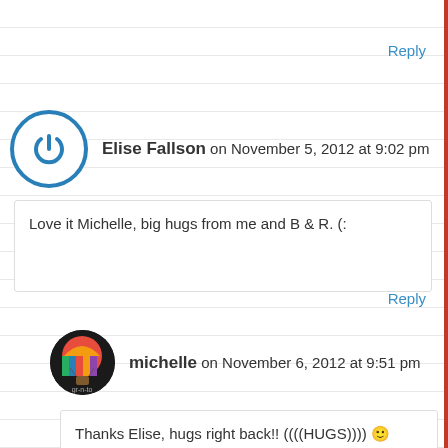Reply
Elise Fallson on November 5, 2012 at 9:02 pm
Love it Michelle, big hugs from me and B & R. (:
Reply
michelle on November 6, 2012 at 9:51 pm
Thanks Elise, hugs right back!! ((((HUGS)))) 🙂
Reply
Mary on November 5, 2012 at 11:59 pm
What a fun and imaginative poem. This blogging community